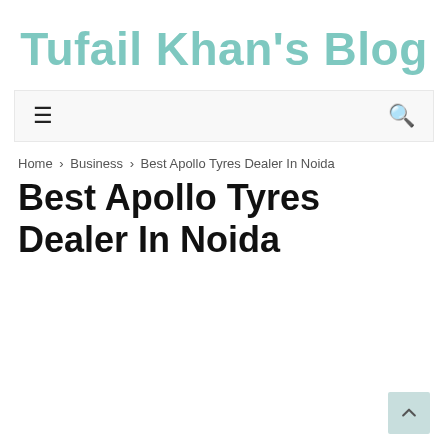Tufail Khan's Blog
[Figure (screenshot): Navigation bar with hamburger menu icon on the left and search icon on the right]
Home > Business > Best Apollo Tyres Dealer In Noida
Best Apollo Tyres Dealer In Noida